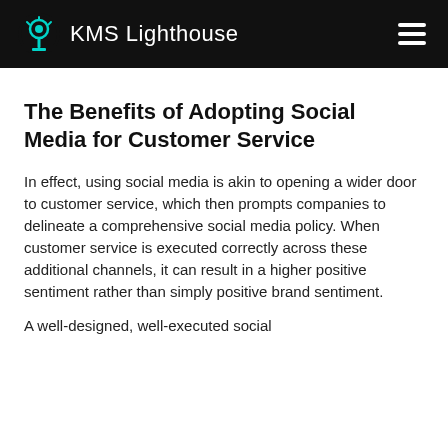KMS Lighthouse
The Benefits of Adopting Social Media for Customer Service
In effect, using social media is akin to opening a wider door to customer service, which then prompts companies to delineate a comprehensive social media policy. When customer service is executed correctly across these additional channels, it can result in a higher positive sentiment rather than simply positive brand sentiment.
A well-designed, well-executed social